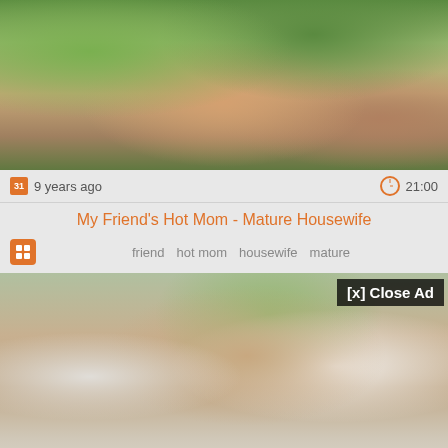[Figure (screenshot): Video thumbnail showing outdoor scene with blurred figures]
9 years ago   21:00
My Friend's Hot Mom - Mature Housewife
friend   hot mom   housewife   mature
[Figure (screenshot): Video ad overlay showing two people indoors with [x] Close Ad button]